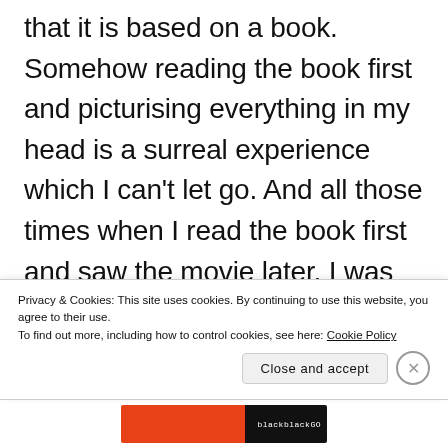that it is based on a book. Somehow reading the book first and picturising everything in my head is a surreal experience which I can't let go. And all those times when I read the book first and saw the movie later, I was partial to
Privacy & Cookies: This site uses cookies. By continuing to use this website, you agree to their use. To find out more, including how to control cookies, see here: Cookie Policy
Close and accept